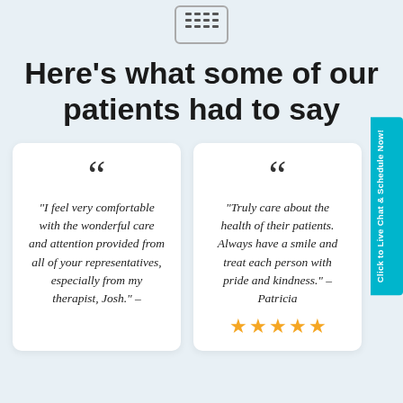[Figure (illustration): Small icon of a grid/table symbol inside a rounded rectangle border at the top center]
Here’s what some of our patients had to say
“I feel very comfortable with the wonderful care and attention provided from all of your representatives, especially from my therapist, Josh.” –
“Truly care about the health of their patients. Always have a smile and treat each person with pride and kindness.” – Patricia
[Figure (illustration): Five orange/gold star rating icons at the bottom of the right card]